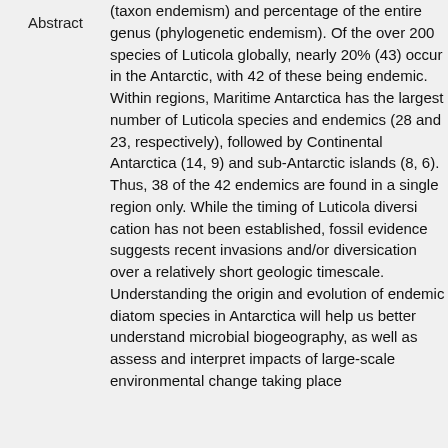(taxon endemism) and percentage of the entire genus (phylogenetic endemism). Of the over 200 species of Luticola globally, nearly 20% (43) occur in the Antarctic, with 42 of these being endemic. Within regions, Maritime Antarctica has the largest number of Luticola species and endemics (28 and 23, respectively), followed by Continental Antarctica (14, 9) and sub-Antarctic islands (8, 6). Thus, 38 of the 42 endemics are found in a single region only. While the timing of Luticola diversi cation has not been established, fossil evidence suggests recent invasions and/or diversi cation over a relatively short geologic timescale. Understanding the origin and evolution of endemic diatom species in Antarctica will help us better understand microbial biogeography, as well as assess and interpret impacts of large-scale environmental change taking place